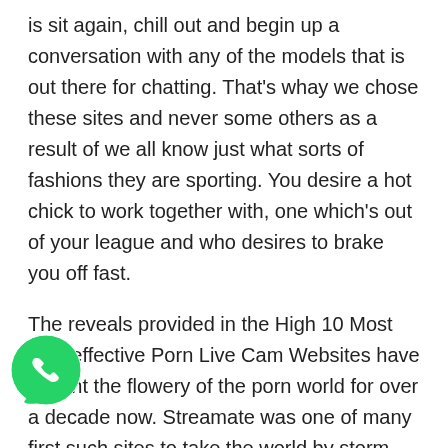is sit again, chill out and begin up a conversation with any of the models that is out there for chatting. That's whay we chose these sites and never some others as a result of we all know just what sorts of fashions they are sporting. You desire a hot chick to work together with, one which's out of your league and who desires to brake you off fast.
The reveals provided in the High 10 Most cost-effective Porn Live Cam Websites have caught the flowery of the porn world for over a decade now. Streamate was one of many first such sites to take the world by storm, and immediately, there are many such reside webcam sites. They offer you attractive bitches, sexy studs and sultry trannies in your cock's pleasure. Whereas subscription ost of those sites is free, you also get free tokens or t on signing up. Further credit may be bought at an affordable fee, which allows you to enjoy private and
[Figure (logo): WhatsApp green circular icon with white phone handset]